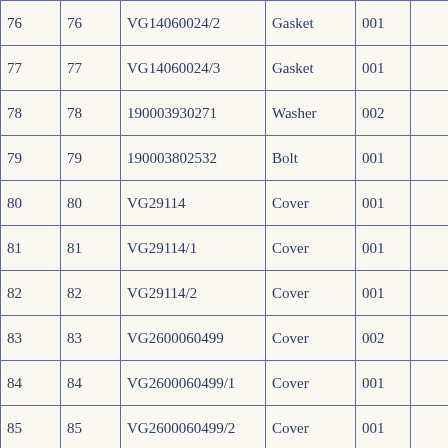| 76 | 76 | VG14060024/2 | Gasket | 001 |  |
| 77 | 77 | VG14060024/3 | Gasket | 001 |  |
| 78 | 78 | 190003930271 | Washer | 002 |  |
| 79 | 79 | 190003802532 | Bolt | 001 |  |
| 80 | 80 | VG29114 | Cover | 001 |  |
| 81 | 81 | VG29114/1 | Cover | 001 |  |
| 82 | 82 | VG29114/2 | Cover | 001 |  |
| 83 | 83 | VG2600060499 | Cover | 002 |  |
| 84 | 84 | VG2600060499/1 | Cover | 001 |  |
| 85 | 85 | VG2600060499/2 | Cover | 001 |  |